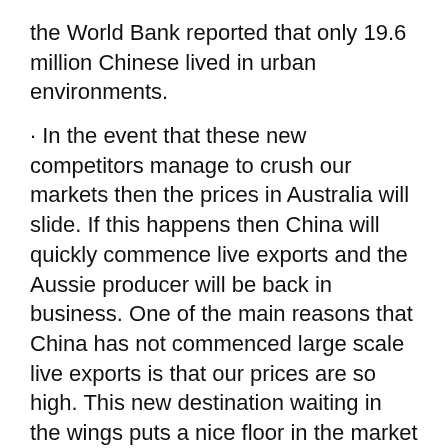the World Bank reported that only 19.6 million Chinese lived in urban environments.
· In the event that these new competitors manage to crush our markets then the prices in Australia will slide. If this happens then China will quickly commence live exports and the Aussie producer will be back in business. One of the main reasons that China has not commenced large scale live exports is that our prices are so high. This new destination waiting in the wings puts a nice floor in the market if it does actually start to fall off the cliff.
· USA beef producers are the largest users of legal HGP's and Beta-agonists to promote the growth of their cattle in feedlots. As both these products are banned from imports to China, the presence of these two chemicals in the